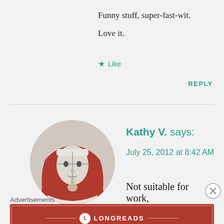Funny stuff, super-fast-wit.
Love it.
★ Like
REPLY
[Figure (illustration): Circular avatar image showing a stylized illustration of a figure in red and white robes or head covering, holding a finger to their lips in a 'shush' gesture]
Kathy V. says:
July 25, 2012 at 8:42 AM
Not suitable for work,
Advertisements
[Figure (infographic): Red advertisement banner for Longreads with logo and text: 'The best stories on the web — ours, and everyone else's.']